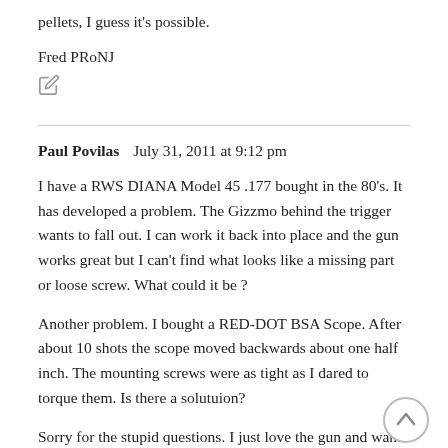pellets, I guess it's possible.
Fred PRoNJ
Paul Povilas  July 31, 2011 at 9:12 pm
I have a RWS DIANA Model 45 .177 bought in the 80's. It has developed a problem. The Gizzmo behind the trigger wants to fall out. I can work it back into place and the gun works great but I can't find what looks like a missing part or loose screw. What could it be ?
Another problem. I bought a RED-DOT BSA Scope. After about 10 shots the scope moved backwards about one half inch. The mounting screws were as tight as I dared to torque them. Is there a solutuion?
Sorry for the stupid questions. I just love the gun and want to